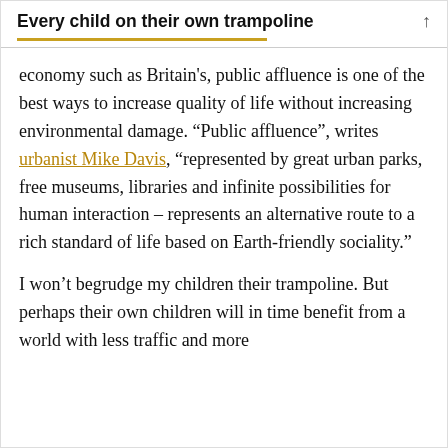Every child on their own trampoline
economy such as Britain's, public affluence is one of the best ways to increase quality of life without increasing environmental damage. “Public affluence”, writes urbanist Mike Davis, “represented by great urban parks, free museums, libraries and infinite possibilities for human interaction – represents an alternative route to a rich standard of life based on Earth-friendly sociality.”
I won’t begrudge my children their trampoline. But perhaps their own children will in time benefit from a world with less traffic and more